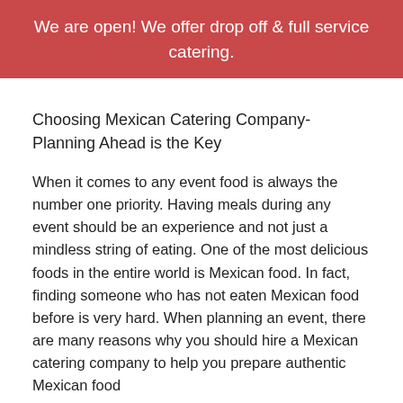We are open! We offer drop off & full service catering.
Choosing Mexican Catering Company- Planning Ahead is the Key
When it comes to any event food is always the number one priority. Having meals during any event should be an experience and not just a mindless string of eating. One of the most delicious foods in the entire world is Mexican food. In fact, finding someone who has not eaten Mexican food before is very hard. When planning an event, there are many reasons why you should hire a Mexican catering company to help you prepare authentic Mexican food
Not every Mexican food catering company can make authentic Mexican food since there is a lot that is involved. If you hire a caterer just for the sake of it chances are you are not going to receive the kind of